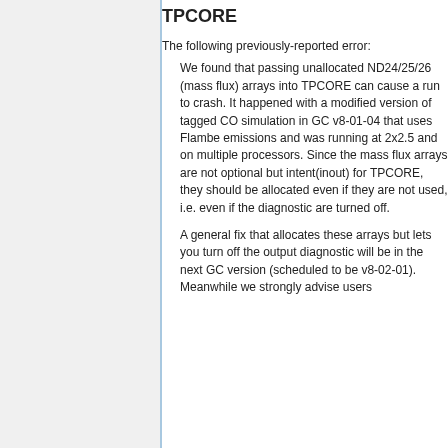TPCORE
The following previously-reported error:
We found that passing unallocated ND24/25/26 (mass flux) arrays into TPCORE can cause a run to crash. It happened with a modified version of tagged CO simulation in GC v8-01-04 that uses Flambe emissions and was running at 2x2.5 and on multiple processors. Since the mass flux arrays are not optional but intent(inout) for TPCORE, they should be allocated even if they are not used, i.e. even if the diagnostic are turned off.
A general fix that allocates these arrays but lets you turn off the output diagnostic will be in the next GC version (scheduled to be v8-02-01). Meanwhile we strongly advise users